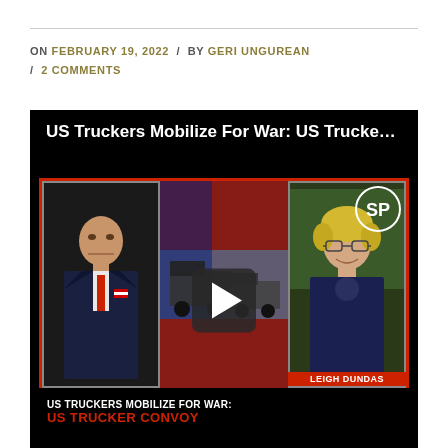ON FEBRUARY 19, 2022 / BY GERI UNGUREAN / 2 COMMENTS
[Figure (screenshot): Embedded video thumbnail for 'US Truckers Mobilize For War: US Trucker C...' showing two people (a man in a suit on the left and a woman with short blonde hair labeled LEIGH DUNDAS on the right), trucks in the center background, a play button overlay, SP logo in top-right corner, and text at the bottom reading 'US TRUCKERS MOBILIZE FOR WAR: US TRUCKER CONVOY' in white and red.]